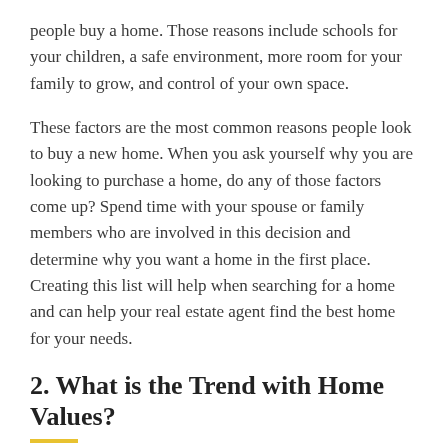people buy a home. Those reasons include schools for your children, a safe environment, more room for your family to grow, and control of your own space.
These factors are the most common reasons people look to buy a new home. When you ask yourself why you are looking to purchase a home, do any of those factors come up? Spend time with your spouse or family members who are involved in this decision and determine why you want a home in the first place. Creating this list will help when searching for a home and can help your real estate agent find the best home for your needs.
2. What is the Trend with Home Values?
Our current economy and housing market is strong. That means home values and mortgage rates are increasing. If